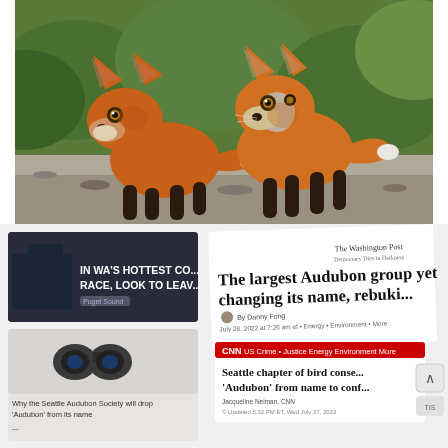[Figure (photo): Two young red fox kits standing together on a gravel path with green foliage in the background. The foxes have bright orange-red fur with dark legs and are facing the camera.]
[Figure (screenshot): A collage of news article screenshots. Left side shows a local news article with headline 'IN WA'S HOTTEST CONGRESSIONAL RACE, LOOK TO LEAVE' and another article 'Why the Seattle Audubon Society will drop Audubon from its name' with an image of binoculars. Right side shows a Washington Post article headline 'The largest Audubon group yet changing its name, rebuking...' with subtext 'Seattle Audubon said John James Audubon's trou...' and a CNN article headline 'Seattle chapter of bird conse... Audubon from name to conf...' A scroll-up button is partially visible on the right edge.]